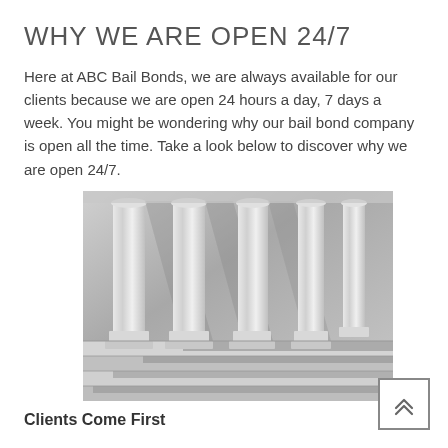WHY WE ARE OPEN 24/7
Here at ABC Bail Bonds, we are always available for our clients because we are open 24 hours a day, 7 days a week. You might be wondering why our bail bond company is open all the time. Take a look below to discover why we are open 24/7.
[Figure (photo): Black and white photograph of classical marble columns with dramatic striped shadow patterns on steps]
Clients Come First